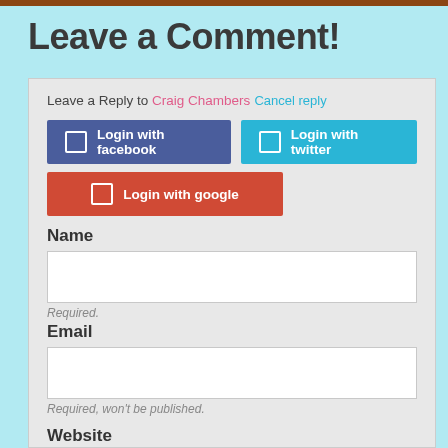Leave a Comment!
Leave a Reply to Craig Chambers Cancel reply
[Figure (screenshot): Login with facebook button (dark blue), Login with twitter button (light blue), Login with google button (red)]
Name
Required.
Email
Required, won't be published.
Website